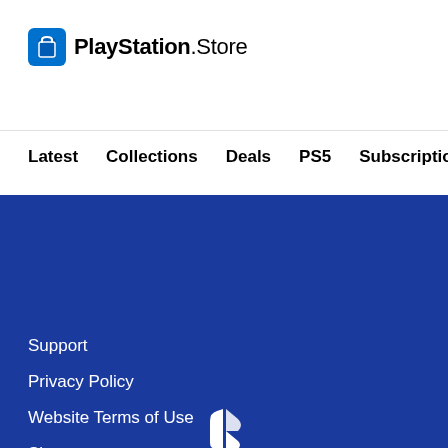[Figure (logo): PlayStation Store logo with shopping bag icon]
Latest   Collections   Deals   PS5   Subscriptions >
[Figure (logo): PlayStation symbol logo (white on blue background)]
Country / Region: United States
Support
Privacy Policy
Website Terms of Use
Sitemap
PlayStation Studios
Legal